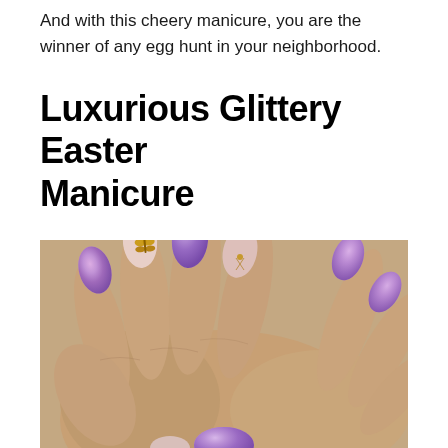And with this cheery manicure, you are the winner of any egg hunt in your neighborhood.
Luxurious Glittery Easter Manicure
[Figure (photo): Close-up photo of hands with luxurious Easter manicure featuring almond-shaped nails in shimmery holographic purple/lavender glitter polish and nude/blush pink with gold butterfly nail art decorations and rhinestones.]